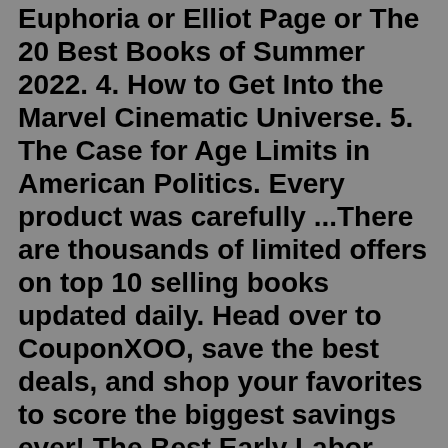Euphoria or Elliot Page or The 20 Best Books of Summer 2022. 4. How to Get Into the Marvel Cinematic Universe. 5. The Case for Age Limits in American Politics. Every product was carefully ...There are thousands of limited offers on top 10 selling books updated daily. Head over to CouponXOO, save the best deals, and shop your favorites to score the biggest savings ever! The Best Early Labor Day Sales to Shop in 2022 The 50 bestselling books of all time, from 'To Kill a Mockingbird' to 'The Fellowship of the Ring' By Katherine Fiorillo Aug 2, 2021 The bestselling books of all time include "The Fellowship of the...Jul 21, 2022 · 1 The Proposal by Jasmine Guillory (2018) Berkley. Now 19% off. $13 AT AMAZON. You really can't go wrong with any of Jasmine Guillory's fun, romantic romps, but this sporty love story is ... r u s egood families don thow to build a dinosauranimal atlas book